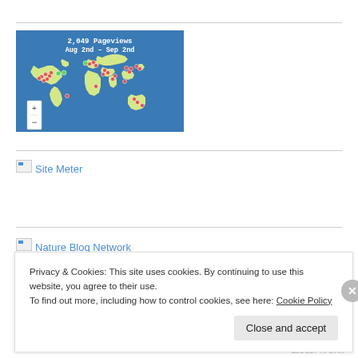[Figure (map): World map showing 2,049 pageviews from Aug 2nd to Sep 2nd, with red and green dots marking visitor locations across continents. Zoom controls (+/-) in lower left.]
[Figure (other): Broken image placeholder with text 'Site Meter' as a link]
[Figure (other): Broken image placeholder with text 'Nature Blog Network' as a link]
Privacy & Cookies: This site uses cookies. By continuing to use this website, you agree to their use.
To find out more, including how to control cookies, see here: Cookie Policy
Close and accept